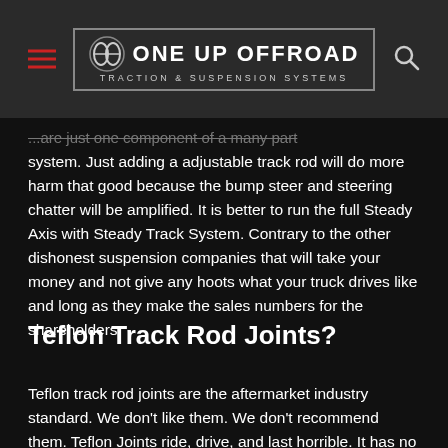ONE UP OFFROAD — Traction & Suspension Systems
...are just one component of a many part system. Just adding a adjustable track rod will do more harm that good because the bump steer and steering chatter will be amplified. It is better to run the full Steady Axis with Steady Track System. Contrary to the other dishonest suspension companies that will take your money and not give any hoots what your truck drives like and long as they make the sales numbers for the shareholders.
Teflon Track Rod Joints?
Teflon track rod joints are the aftermarket industry standard. We don't like them. We don't recommend them. Teflon Joints ride, drive, and last horrible. It has no cushion